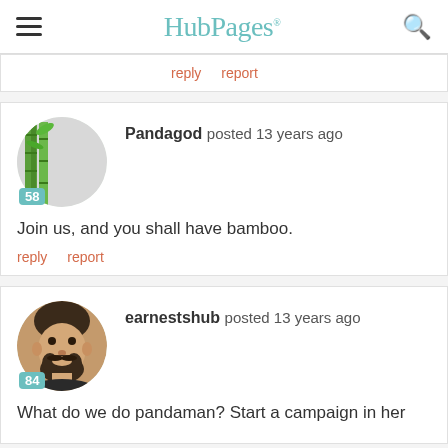HubPages
reply   report
Pandagod posted 13 years ago
Join us, and you shall have bamboo.
reply   report
earnestshub posted 13 years ago
What do we do pandaman? Start a campaign in her